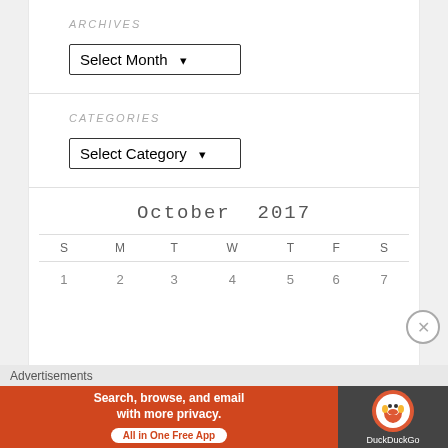ARCHIVES
[Figure (screenshot): Dropdown selector showing 'Select Month' with arrow]
CATEGORIES
[Figure (screenshot): Dropdown selector showing 'Select Category' with arrow]
October 2017
| S | M | T | W | T | F | S |
| --- | --- | --- | --- | --- | --- | --- |
| 1 | 2 | 3 | 4 | 5 | 6 | 7 |
Advertisements
[Figure (screenshot): DuckDuckGo advertisement banner: 'Search, browse, and email with more privacy. All in One Free App' with DuckDuckGo duck logo on dark background]